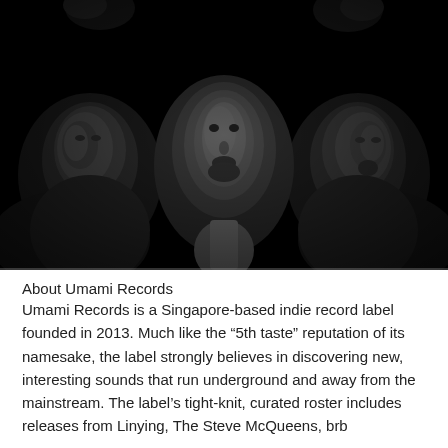[Figure (photo): Black and white portrait photograph of three men against a dark background, their faces partially illuminated. The image has a moody, artistic quality.]
About Umami Records
Umami Records is a Singapore-based indie record label founded in 2013. Much like the “5th taste” reputation of its namesake, the label strongly believes in discovering new, interesting sounds that run underground and away from the mainstream. The label’s tight-knit, curated roster includes releases from Linying, The Steve McQueens, brb